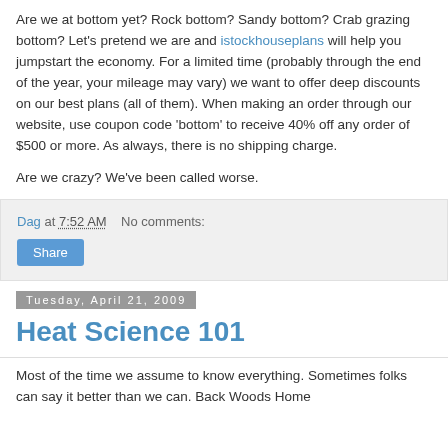Are we at bottom yet? Rock bottom? Sandy bottom? Crab grazing bottom? Let's pretend we are and istockhouseplans will help you jumpstart the economy. For a limited time (probably through the end of the year, your mileage may vary) we want to offer deep discounts on our best plans (all of them). When making an order through our website, use coupon code 'bottom' to receive 40% off any order of $500 or more. As always, there is no shipping charge.
Are we crazy? We've been called worse.
Dag at 7:52 AM    No comments:
Share
Tuesday, April 21, 2009
Heat Science 101
Most of the time we assume to know everything. Sometimes folks can say it better than we can. Back Woods Home